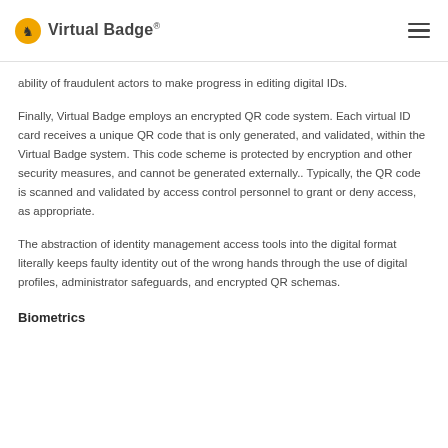Virtual Badge®
ability of fraudulent actors to make progress in editing digital IDs.
Finally, Virtual Badge employs an encrypted QR code system. Each virtual ID card receives a unique QR code that is only generated, and validated, within the Virtual Badge system. This code scheme is protected by encryption and other security measures, and cannot be generated externally.. Typically, the QR code is scanned and validated by access control personnel to grant or deny access, as appropriate.
The abstraction of identity management access tools into the digital format literally keeps faulty identity out of the wrong hands through the use of digital profiles, administrator safeguards, and encrypted QR schemas.
Biometrics